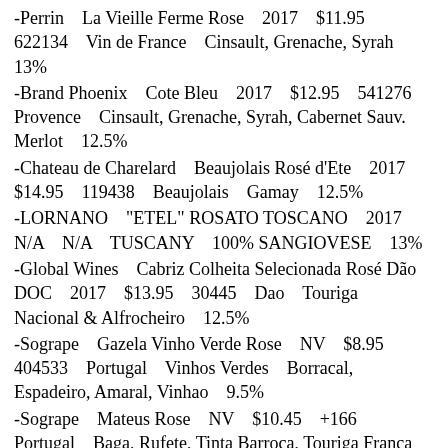-Perrin    La Vieille Ferme Rose    2017    $11.95   622134    Vin de France    Cinsault, Grenache, Syrah   13%
-Brand Phoenix    Cote Bleu    2017    $12.95    541276   Provence    Cinsault, Grenache, Syrah, Cabernet Sauv.   Merlot    12.5%
-Chateau de Charelard    Beaujolais Rosé d'Ete    2017   $14.95    119438    Beaujolais    Gamay    12.5%
-LORNANO    "ETEL" ROSATO TOSCANO    2017   N/A    N/A    TUSCANY    100% SANGIOVESE    13%
-Global Wines    Cabriz Colheita Selecionada Rosé Dão   DOC    2017    $13.95    30445    Dao    Touriga   Nacional & Alfrocheiro    12.5%
-Sogrape    Gazela Vinho Verde Rose    NV    $8.95   404533    Portugal    Vinhos Verdes    Borracal,   Espadeiro, Amaral, Vinhao    9.5%
-Sogrape    Mateus Rose    NV    $10.45    +166   Portugal    Baga, Rufete, Tinta Barroca, Touriga Franca   11%